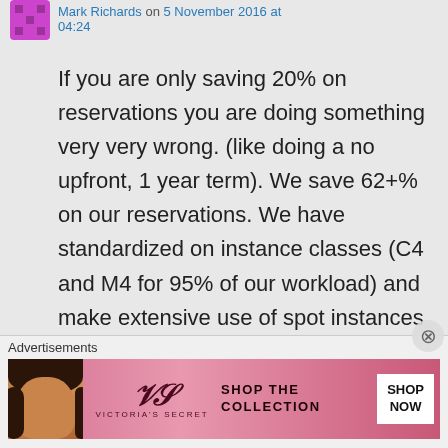Mark Richards on 5 November 2016 at 04:24
If you are only saving 20% on reservations you are doing something very very wrong. (like doing a no upfront, 1 year term). We save 62+% on our reservations. We have standardized on instance classes (C4 and M4 for 95% of our workload) and make extensive use of spot instances where we can (which saves us upwards of 90% in many cases). We use orchestration
Advertisements
[Figure (illustration): Victoria's Secret advertisement banner with SHOP THE COLLECTION and SHOP NOW button]